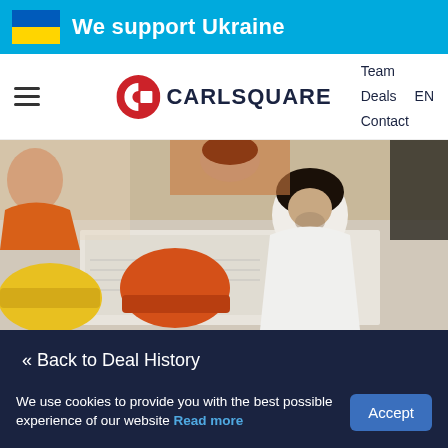We support Ukraine
[Figure (logo): Carlsquare logo with hamburger menu and navigation links (Team, Deals, Contact, EN)]
[Figure (photo): Overhead view of construction workers in hard hats leaning over blueprints on a table]
« Back to Deal History
We use cookies to provide you with the best possible experience of our website Read more